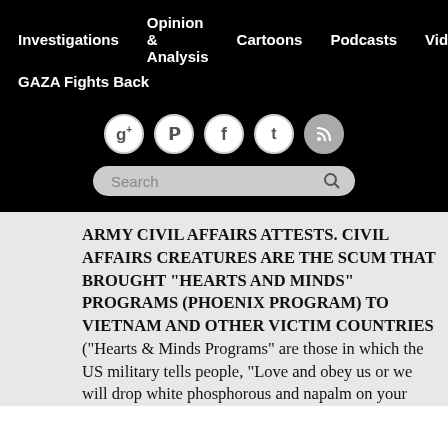Investigations   Opinion & Analysis   Cartoons   Podcasts   Videos   GAZA Fights Back
ARMY CIVIL AFFAIRS ATTESTS. CIVIL AFFAIRS CREATURES ARE THE SCUM THAT BROUGHT “HEARTS AND MINDS” PROGRAMS (PHOENIX PROGRAM) TO VIETNAM AND OTHER VICTIM COUNTRIES (“Hearts & Minds Programs” are those in which the US military tells people, “Love and obey us or we will drop white phosphorous and napalm on your